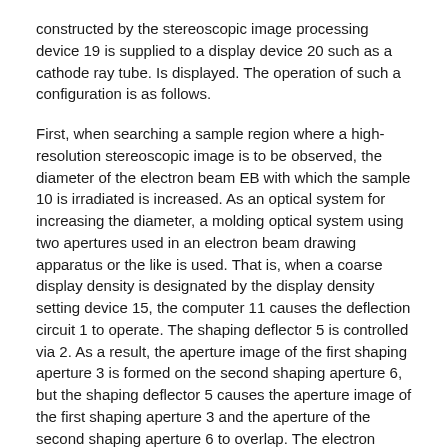constructed by the stereoscopic image processing device 19 is supplied to a display device 20 such as a cathode ray tube. Is displayed. The operation of such a configuration is as follows.
First, when searching a sample region where a high-resolution stereoscopic image is to be observed, the diameter of the electron beam EB with which the sample 10 is irradiated is increased. As an optical system for increasing the diameter, a molding optical system using two apertures used in an electron beam drawing apparatus or the like is used. That is, when a coarse display density is designated by the display density setting device 15, the computer 11 causes the deflection circuit 1 to operate. The shaping deflector 5 is controlled via 2. As a result, the aperture image of the first shaping aperture 3 is formed on the second shaping aperture 6, but the shaping deflector 5 causes the aperture image of the first shaping aperture 3 and the aperture of the second shaping aperture 6 to overlap. The electron beam having a relatively large diameter is taken out from the second shaping aperture 6 because of its large size. The electron beam from the second shaping aperture 6 is imaged on the sample 10 by